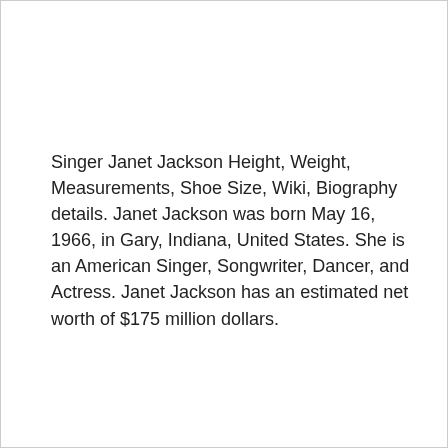Singer Janet Jackson Height, Weight, Measurements, Shoe Size, Wiki, Biography details. Janet Jackson was born May 16, 1966, in Gary, Indiana, United States. She is an American Singer, Songwriter, Dancer, and Actress. Janet Jackson has an estimated net worth of $175 million dollars.